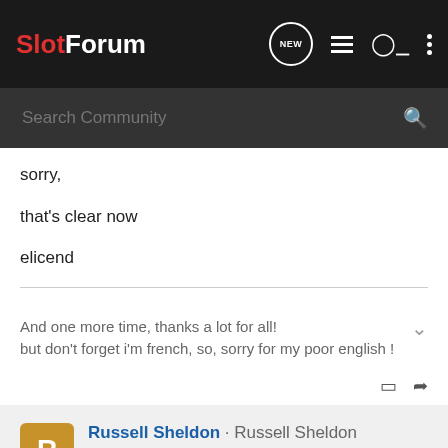SlotForum
sorry,

that's clear now

elicend
And one more time, thanks a lot for all!
but don't forget i'm french, so, sorry for my poor english !
Russell Sheldon · Russell Sheldon
Joined Sep 19, 2003 · 2,855 Posts